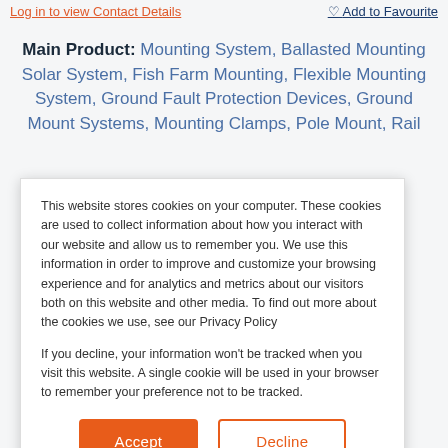Log in to view Contact Details   ♡ Add to Favourite
Main Product: Mounting System, Ballasted Mounting Solar System, Fish Farm Mounting, Flexible Mounting System, Ground Fault Protection Devices, Ground Mount Systems, Mounting Clamps, Pole Mount, Rail
This website stores cookies on your computer. These cookies are used to collect information about how you interact with our website and allow us to remember you. We use this information in order to improve and customize your browsing experience and for analytics and metrics about our visitors both on this website and other media. To find out more about the cookies we use, see our Privacy Policy

If you decline, your information won't be tracked when you visit this website. A single cookie will be used in your browser to remember your preference not to be tracked.
Accept
Decline